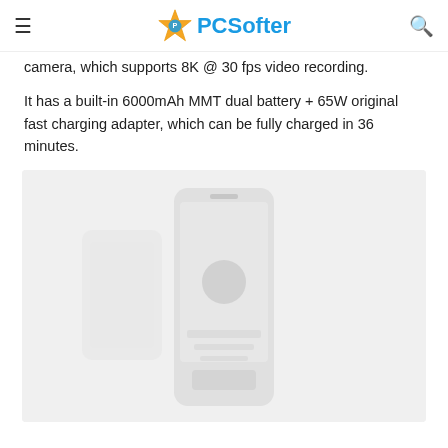PCSofter
camera, which supports 8K @ 30 fps video recording.
It has a built-in 6000mAh MMT dual battery + 65W original fast charging adapter, which can be fully charged in 36 minutes.
[Figure (photo): Faded/washed-out photo of a smartphone device shown from the front, centered in a light gray background box.]